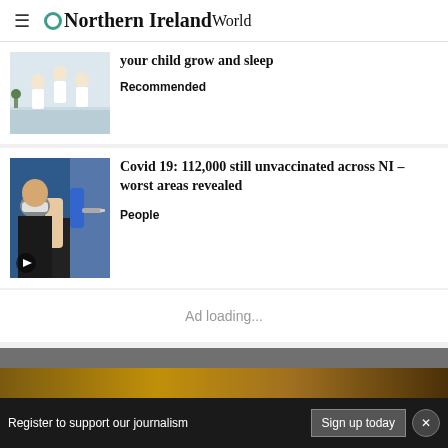Northern Ireland World
[Figure (photo): Children jumping on a bed, three kids in white clothing]
your child grow and sleep
Recommended
[Figure (photo): Person receiving a vaccine injection in the arm, healthcare worker in blue gloves]
Covid 19: 112,000 still unvaccinated across NI – worst areas revealed
People
Ad loading...
Register to support our journalism
Sign up today